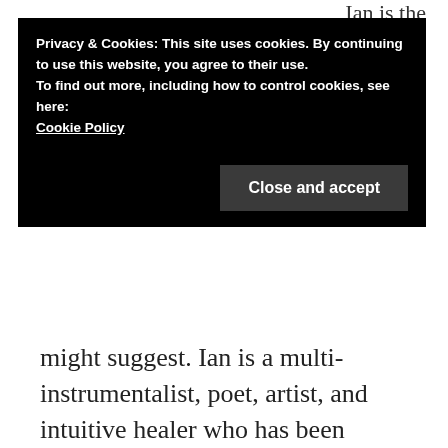Ian is the
Privacy & Cookies: This site uses cookies. By continuing to use this website, you agree to their use.
To find out more, including how to control cookies, see here:
Cookie Policy
Close and accept
might suggest. Ian is a multi-instrumentalist, poet, artist, and intuitive healer who has been working in the creative arts field for over 20 years.
http://listeningtosmile.com
http://wakezine.com